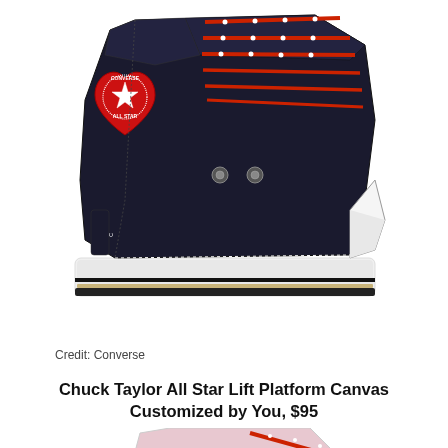[Figure (photo): Black Converse Chuck Taylor All Star Lift Platform high-top sneaker with red heart logo featuring the Converse All Star emblem, red laces with polka dots, white platform sole, photographed from the side on white background.]
Credit: Converse
Chuck Taylor All Star Lift Platform Canvas Customized by You, $95
[Figure (photo): Pink/lavender Converse Chuck Taylor high-top sneaker with LOVE text printed repeatedly in red across the canvas upper, red polka dot laces, Converse All Star logo on the ankle patch, photographed from the side on white background.]